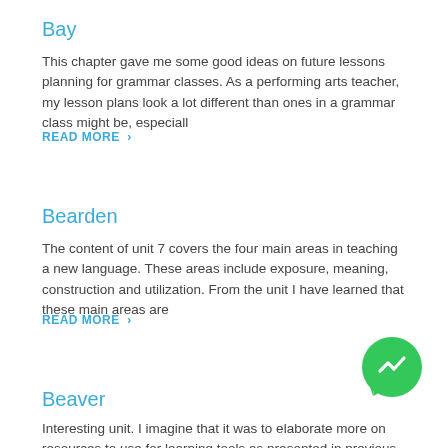Bay
This chapter gave me some good ideas on future lessons planning for grammar classes. As a performing arts teacher, my lesson plans look a lot different than ones in a grammar class might be, especiall
READ MORE >
Bearden
The content of unit 7 covers the four main areas in teaching a new language. These areas include exposure, meaning, construction and utilization. From the unit I have learned that these main areas are
READ MORE >
[Figure (logo): Green circular Facebook Messenger icon with white lightning bolt chat symbol]
Beaver
Interesting unit. I imagine that it was to elaborate more on resources to use for learning tools as presented in previous units. I will be sure